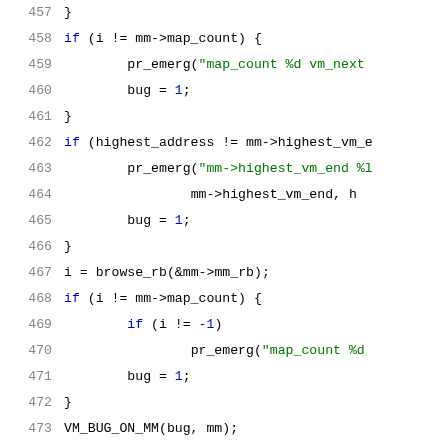[Figure (screenshot): Source code listing lines 457-478 of a C kernel file showing memory map validation logic with syntax highlighting. Line numbers in gray on left, C keywords in blue, string literals in red/green, preprocessor directives in blue.]